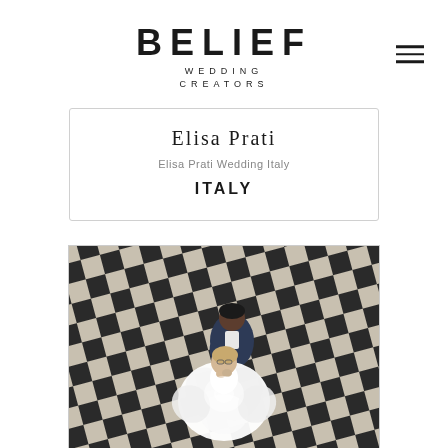BELIEF WEDDING CREATORS
Elisa Prati
Elisa Prati Wedding Italy
ITALY
[Figure (photo): Aerial view of a bride and groom dancing on a black and white checkered marble floor, shot from directly above. The bride wears a white full-skirted dress and the groom wears a dark suit.]